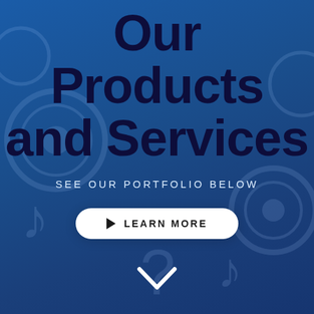Our Products and Services
SEE OUR PORTFOLIO BELOW
[Figure (other): White pill-shaped button with play icon and text LEARN MORE]
[Figure (other): White chevron down arrow at bottom center]